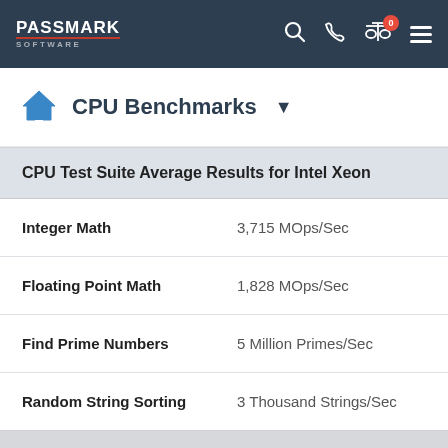PassMark Software
CPU Benchmarks
| CPU Test Suite Average Results for Intel Xeon |
| --- |
| Integer Math | 3,715 MOps/Sec |
| Floating Point Math | 1,828 MOps/Sec |
| Find Prime Numbers | 5 Million Primes/Sec |
| Random String Sorting | 3 Thousand Strings/Sec |